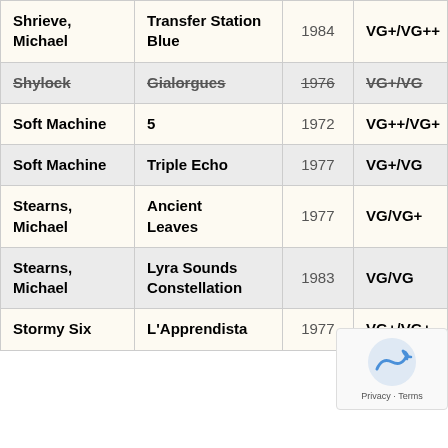| Artist | Album | Year | Grade |
| --- | --- | --- | --- |
| Shrieve, Michael | Transfer Station Blue | 1984 | VG+/VG++ |
| Shylock | Gialorgues | 1976 | VG+/VG |
| Soft Machine | 5 | 1972 | VG++/VG+ |
| Soft Machine | Triple Echo | 1977 | VG+/VG |
| Stearns, Michael | Ancient Leaves | 1977 | VG/VG+ |
| Stearns, Michael | Lyra Sounds Constellation | 1983 | VG/VG |
| Stormy Six | L'Apprendista | 1977 | VG+/VG+ |